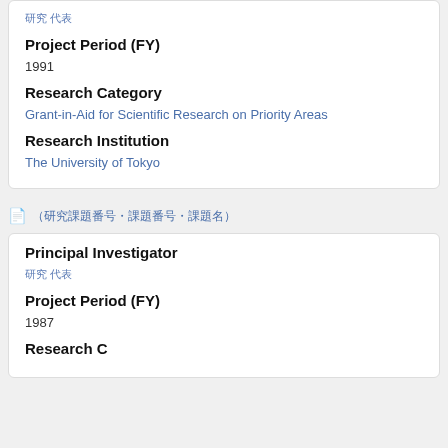Project Period (FY)
1991
Research Category
Grant-in-Aid for Scientific Research on Priority Areas
Research Institution
The University of Tokyo
（Japanese text navigation label）
Principal Investigator
（Japanese name）
Project Period (FY)
1987
Research Category